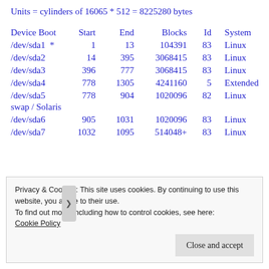Units = cylinders of 16065 * 512 = 8225280 bytes
| Device | Boot | Start | End | Blocks | Id | System |
| --- | --- | --- | --- | --- | --- | --- |
| /dev/sda1 | * | 1 | 13 | 104391 | 83 | Linux |
| /dev/sda2 |  | 14 | 395 | 3068415 | 83 | Linux |
| /dev/sda3 |  | 396 | 777 | 3068415 | 83 | Linux |
| /dev/sda4 |  | 778 | 1305 | 4241160 | 5 | Extended |
| /dev/sda5 |  | 778 | 904 | 1020096 | 82 | Linux swap / Solaris |
| /dev/sda6 |  | 905 | 1031 | 1020096 | 83 | Linux |
| /dev/sda7 |  | 1032 | 1095 | 514048+ | 83 | Linux |
Privacy & Cookies: This site uses cookies. By continuing to use this website, you agree to their use.
To find out more, including how to control cookies, see here:
Cookie Policy